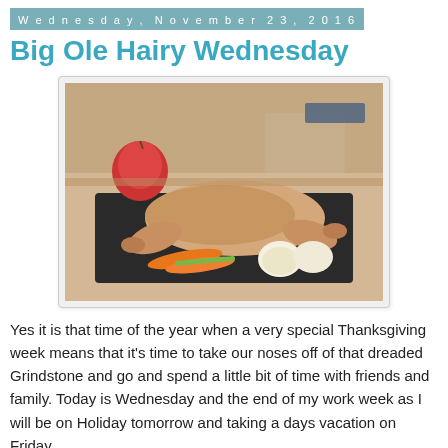Wednesday, November 23, 2016
Big Ole Hairy Wednesday
[Figure (photo): A raw turkey spatchcocked on a dark baking tray, surrounded by carrots, celery, and a halved onion, with a red apple visible in the background on a kitchen counter.]
Yes it is that time of the year when a very special Thanksgiving week means that it's time to take our noses off of that dreaded Grindstone and go and spend a little bit of time with friends and family. Today is Wednesday and the end of my work week as I will be on Holiday tomorrow and taking a days vacation on Friday.
Tonight after work Michelle and I will be heading over to the Cassville Firehall and help out the family in prepping for tomorrows feast at the Firehall. Tonight will comprise of